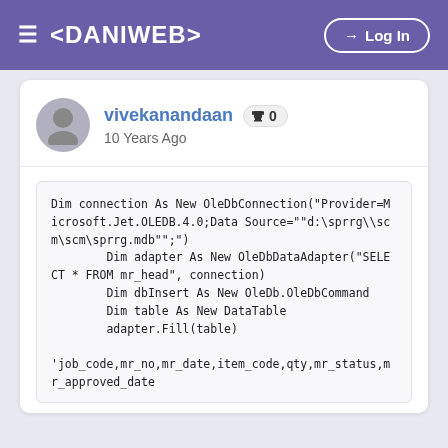≡ <DANIWEB>   → Log In
vivekanandaan  🏆 0
10 Years Ago
Dim connection As New OleDbConnection("Provider=Microsoft.Jet.OLEDB.4.0;Data Source=""d:\sprrg\\scm\scm\sprrg.mdb"";")
        Dim adapter As New OleDbDataAdapter("SELECT * FROM mr_head", connection)
        Dim dbInsert As New OleDb.OleDbCommand
        Dim table As New DataTable
        adapter.Fill(table)

'job_code,mr_no,mr_date,item_code,qty,mr_status,mr_approved_date